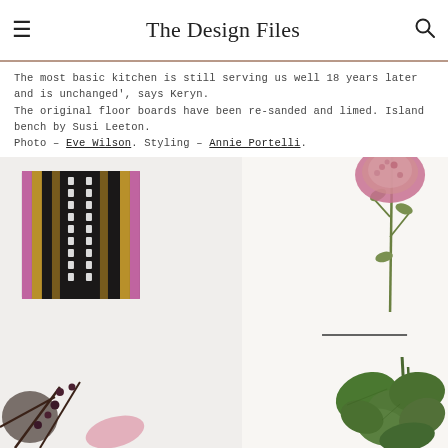The Design Files
The most basic kitchen is still serving us well 18 years later and is unchanged', says Keryn. The original floor boards have been re-sanded and limed. Island bench by Susi Leeton. Photo – Eve Wilson. Styling – Annie Portelli.
[Figure (photo): Interior photo showing a decorative artwork on a white wall (left panel) featuring a black artwork with white and gold stripe pattern and pink border. Right panel shows a tall pink flowering plant (sedum/allium) with green stems and a large green leafy plant in the lower right, plus dark berry branches in the lower left corner.]